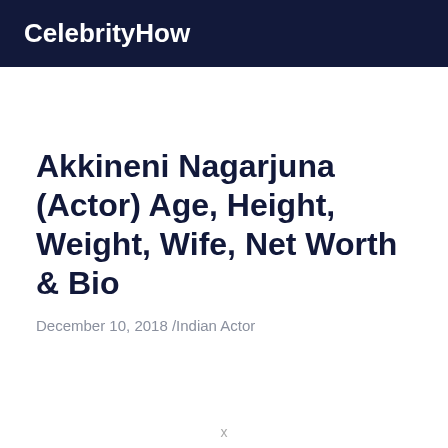CelebrityHow
Akkineni Nagarjuna (Actor) Age, Height, Weight, Wife, Net Worth & Bio
December 10, 2018 /Indian Actor